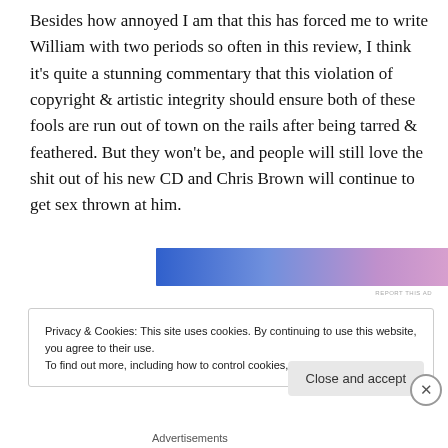Besides how annoyed I am that this has forced me to write William with two periods so often in this review, I think it's quite a stunning commentary that this violation of copyright & artistic integrity should ensure both of these fools are run out of town on the rails after being tarred & feathered. But they won't be, and people will still love the shit out of his new CD and Chris Brown will continue to get sex thrown at him.
[Figure (other): Advertisement banner with blue-to-pink gradient and underlined text link]
Privacy & Cookies: This site uses cookies. By continuing to use this website, you agree to their use.
To find out more, including how to control cookies, see here: Cookie Policy
Close and accept
Advertisements